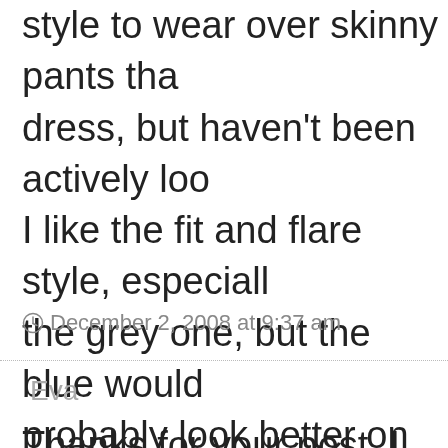style to wear over skinny pants tha dress, but haven't been actively loo I like the fit and flare style, especiall the grey one, but the blue would probably look better on me. I plan t watch for one on after Christmas sa
December 2, 2008 at 9:37 am
Eva
Thanks for your post. I had been